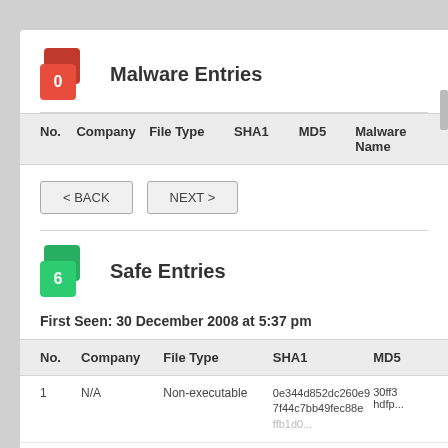Malware Entries
| No. | Company | File Type | SHA1 | MD5 | Malware Name |
| --- | --- | --- | --- | --- | --- |
< BACK   NEXT >
Safe Entries
First Seen: 30 December 2008 at 5:37 pm
| No. | Company | File Type | SHA1 | MD5 |
| --- | --- | --- | --- | --- |
| 1 | N/A | Non-executable | 0e344d852dc260e9 7f44c7bb49fec88e ... | 30ff3... hdfp... |